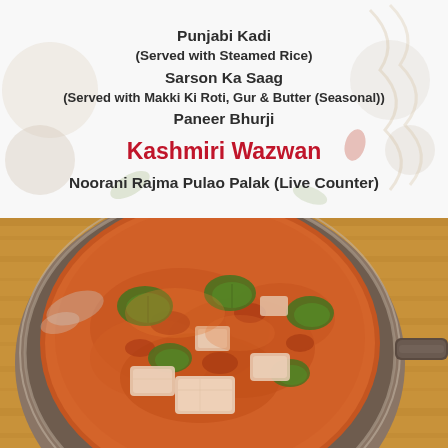Punjabi Kadi
(Served with Steamed Rice)
Sarson Ka Saag
(Served with Makki Ki Roti, Gur & Butter (Seasonal))
Paneer Bhurji
Kashmiri Wazwan
Noorani Rajma Pulao Palak (Live Counter)
[Figure (photo): A large metal kadai/wok containing paneer tikka masala curry with green bell peppers in a rich orange-red tomato-based sauce, placed on a wooden surface.]